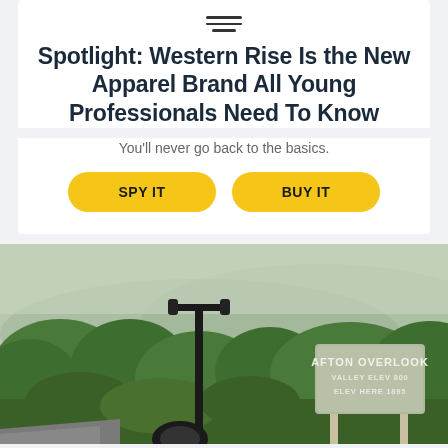Spotlight: Western Rise Is the New Apparel Brand All Young Professionals Need To Know
You'll never go back to the basics.
SPY IT
BUY IT
[Figure (photo): Outdoor scenic photo at Afton Overlook. Shows a road-side sign reading 'AFTON OVERLOOK / VALLEY ELEV 800 / ELEV HERE 1895' mounted on wooden posts. A bicycle handlebar and partial bike visible on the left. Dense green trees and misty mountain valley in the background.]